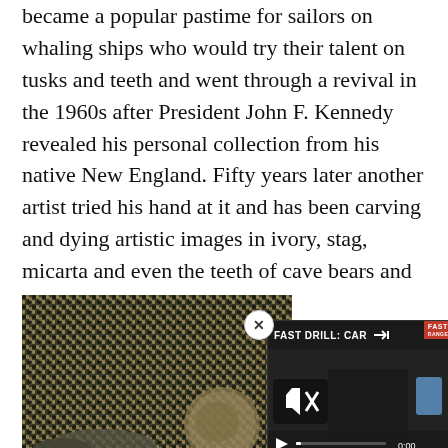became a popular pastime for sailors on whaling ships who would try their talent on tusks and teeth and went through a revival in the 1960s after President John F. Kennedy revealed his personal collection from his native New England. Fifty years later another artist tried his hand at it and has been carving and dying artistic images in ivory, stag, micarta and even the teeth of cave bears and prehistoric sharks.
[Figure (photo): Close-up photo of a woven textile or chain-like material in dark blue/black and tan colors, with a partially visible coin or medallion at the bottom right. Overlaid with a video player showing 'FAST DRILL: CAR' title, with a play button, mute icon, 0:00 timestamp, and fullscreen button. A close button (X) appears at the top right of the video overlay.]